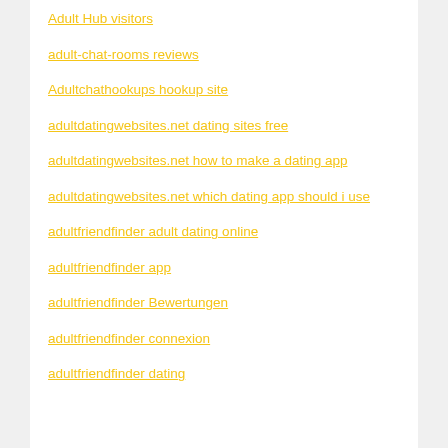Adult Hub visitors
adult-chat-rooms reviews
Adultchathookups hookup site
adultdatingwebsites.net dating sites free
adultdatingwebsites.net how to make a dating app
adultdatingwebsites.net which dating app should i use
adultfriendfinder adult dating online
adultfriendfinder app
adultfriendfinder Bewertungen
adultfriendfinder connexion
adultfriendfinder dating